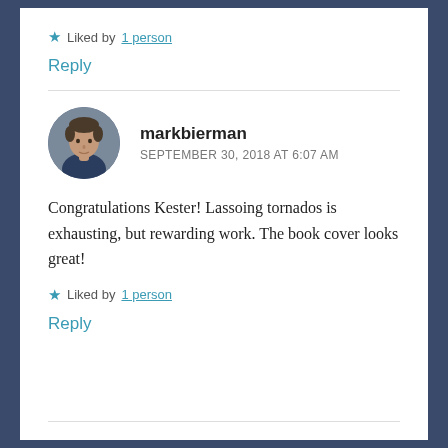★ Liked by 1 person
Reply
[Figure (photo): Circular avatar photo of markbierman, a man in a dark shirt]
markbierman
SEPTEMBER 30, 2018 AT 6:07 AM
Congratulations Kester! Lassoing tornados is exhausting, but rewarding work. The book cover looks great!
★ Liked by 1 person
Reply